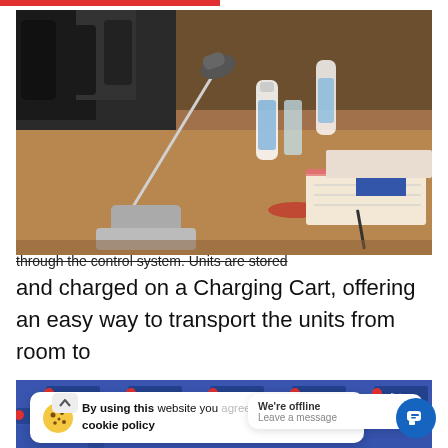[Figure (photo): Conference table with microphones, water bottles, and spiral notebooks arranged on a wooden table, with office chairs visible in the background]
through the control system. Units are stored
and charged on a Charging Cart, offering an easy way to transport the units from room to
[Figure (photo): Conference room backdrop with repeated Business Roundtable logos on a blue banner]
By using this website you agree to our cookie policy
We're offline
Leave a message